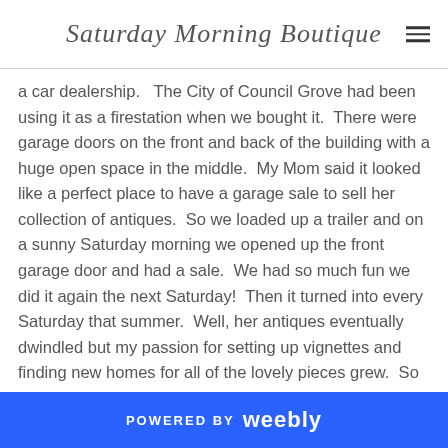Saturday Morning Boutique
a car dealership.   The City of Council Grove had been using it as a firestation when we bought it.  There were garage doors on the front and back of the building with a huge open space in the middle.  My Mom said it looked like a perfect place to have a garage sale to sell her collection of antiques.  So we loaded up a trailer and on a sunny Saturday morning we opened up the front garage door and had a sale.  We had so much fun we did it again the next Saturday!  Then it turned into every Saturday that summer.  Well, her antiques eventually dwindled but my passion for setting up vignettes and finding new homes for all of the lovely pieces grew.  So one day I stopped in a local shop and asked where on earth they got
POWERED BY weebly